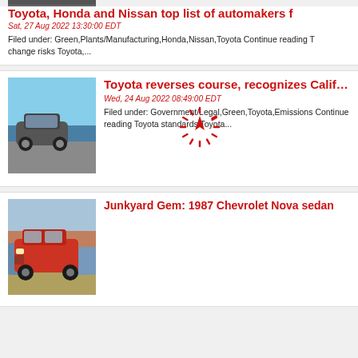[Figure (photo): Partial thumbnail of a car/automotive photo at top of page]
Toyota, Honda and Nissan top list of automakers f
Sat, 27 Aug 2022 13:30:00 EDT
Filed under: Green,Plants/Manufacturing,Honda,Nissan,Toyota Continue reading T change risks Toyota,...
[Figure (photo): Toyota EV/crossover SUV photographed outdoors near water, driving shot]
Toyota reverses course, recognizes California's au
Wed, 24 Aug 2022 08:49:00 EDT
Filed under: Government/Legal,Green,Toyota,Emissions Continue reading Toyota standards Toyota...
[Figure (photo): Red 1987 Chevrolet Nova sedan in a junkyard/salvage yard]
Junkyard Gem: 1987 Chevrolet Nova sedan